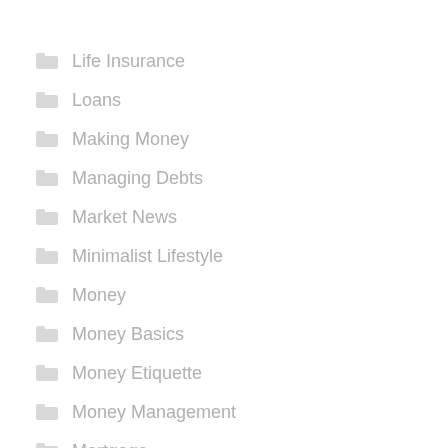Life Insurance
Loans
Making Money
Managing Debts
Market News
Minimalist Lifestyle
Money
Money Basics
Money Etiquette
Money Management
Mortgage
Mortgage Home Loans